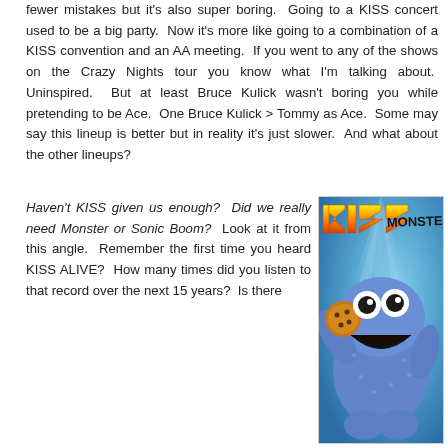fewer mistakes but it's also super boring.  Going to a KISS concert used to be a big party.  Now it's more like going to a combination of a KISS convention and an AA meeting.  If you went to any of the shows on the Crazy Nights tour you know what I'm talking about.  Uninspired.  But at least Bruce Kulick wasn't boring you while pretending to be Ace.  One Bruce Kulick > Tommy as Ace.  Some may say this lineup is better but in reality it's just slower.  And what about the other lineups?
Haven't KISS given us enough?  Did we really need Monster or Sonic Boom?  Look at it from this angle.  Remember the first time you heard KISS ALIVE?  How many times did you listen to that record over the next 15 years?  Is there
[Figure (photo): Parody image of KISS Monster album cover featuring Cookie Monster from Sesame Street holding a cookie, with KISS logo in orange/yellow flame letters and the word MONSTER in black handwritten style, against a blue background]